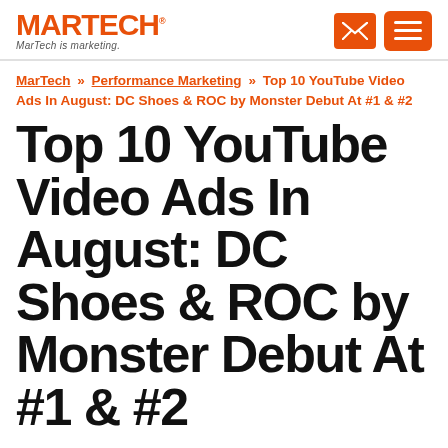MARTECH - MarTech is marketing.
MarTech » Performance Marketing » Top 10 YouTube Video Ads In August: DC Shoes & ROC by Monster Debut At #1 & #2
Top 10 YouTube Video Ads In August: DC Shoes & ROC by Monster Debut At #1 & #2
Last month's top ten video ads generated a combined 73,190,366 views and